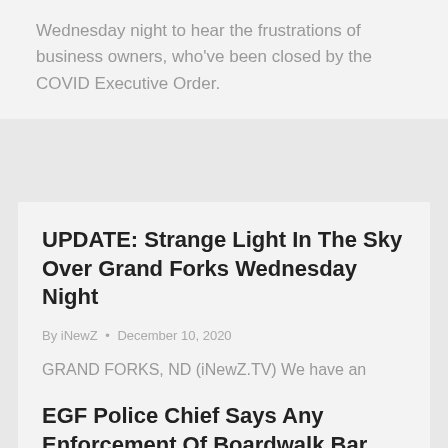Wednesday night to hear the frustrations of business owners, who've been closed by the COVID Executive Order.
UPDATE: Strange Light In The Sky Over Grand Forks Wednesday Night
By iNewZ • December 10, 2020
GRAND FORKS, ND (iNewZ.TV) We have an update regarding a strange light seen in the sky over Grand Forks Wednesday night.
EGF Police Chief Says Any Enforcement Of Boardwalk Bar Defying Gov.'s COVID